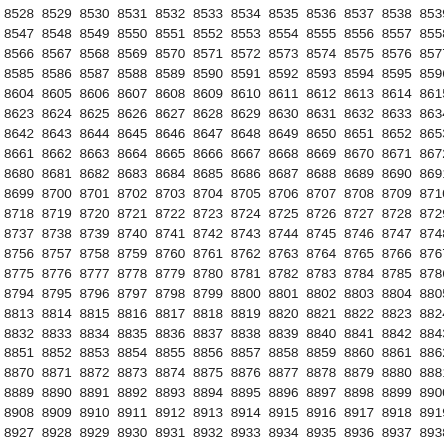8528 8529 8530 8531 8532 8533 8534 8535 8536 8537 8538 8539 8540 8541 8542 8547 8548 8549 8550 8551 8552 8553 8554 8555 8556 8557 8558 8559 8560 8561 8566 8567 8568 8569 8570 8571 8572 8573 8574 8575 8576 8577 8578 8579 8580 8585 8586 8587 8588 8589 8590 8591 8592 8593 8594 8595 8596 8597 8598 8599 8604 8605 8606 8607 8608 8609 8610 8611 8612 8613 8614 8615 8616 8617 8618 8623 8624 8625 8626 8627 8628 8629 8630 8631 8632 8633 8634 8635 8636 8637 8642 8643 8644 8645 8646 8647 8648 8649 8650 8651 8652 8653 8654 8655 8656 8661 8662 8663 8664 8665 8666 8667 8668 8669 8670 8671 8672 8673 8674 8675 8680 8681 8682 8683 8684 8685 8686 8687 8688 8689 8690 8691 8692 8693 8694 8699 8700 8701 8702 8703 8704 8705 8706 8707 8708 8709 8710 8711 8712 8713 8718 8719 8720 8721 8722 8723 8724 8725 8726 8727 8728 8729 8730 8731 8732 8737 8738 8739 8740 8741 8742 8743 8744 8745 8746 8747 8748 8749 8750 8751 8756 8757 8758 8759 8760 8761 8762 8763 8764 8765 8766 8767 8768 8769 8770 8775 8776 8777 8778 8779 8780 8781 8782 8783 8784 8785 8786 8787 8788 8789 8794 8795 8796 8797 8798 8799 8800 8801 8802 8803 8804 8805 8806 8807 8808 8813 8814 8815 8816 8817 8818 8819 8820 8821 8822 8823 8824 8825 8826 8827 8832 8833 8834 8835 8836 8837 8838 8839 8840 8841 8842 8843 8844 8845 8846 8851 8852 8853 8854 8855 8856 8857 8858 8859 8860 8861 8862 8863 8864 8865 8870 8871 8872 8873 8874 8875 8876 8877 8878 8879 8880 8881 8882 8883 8884 8889 8890 8891 8892 8893 8894 8895 8896 8897 8898 8899 8900 8901 8902 8903 8908 8909 8910 8911 8912 8913 8914 8915 8916 8917 8918 8919 8920 8921 8922 8927 8928 8929 8930 8931 8932 8933 8934 8935 8936 8937 8938 8939 8940 8941 8946 8947 8948 8949 8950 8951 8952 8953 8954 8955 8956 8957 8958 8959 8960 8965 8966 8967 8968 8969 8970 8971 8972 8973 8974 8975 8976 8977 8978 8979 8984 8985 8986 8987 8988 8989 8990 8991 8992 8993 8994 8995 8996 8997 8998 9003 9004 9005 9006 9007 9008 9009 9010 9011 9012 9013 9014 9015 9016 9017